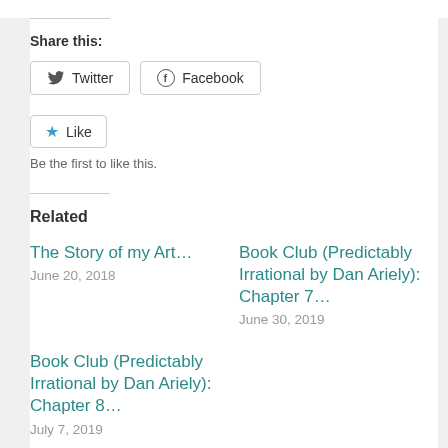Share this:
Twitter   Facebook
Like   Be the first to like this.
Related
The Story of my Art…
June 20, 2018
Book Club (Predictably Irrational by Dan Ariely): Chapter 7…
June 30, 2019
Book Club (Predictably Irrational by Dan Ariely): Chapter 8…
July 7, 2019